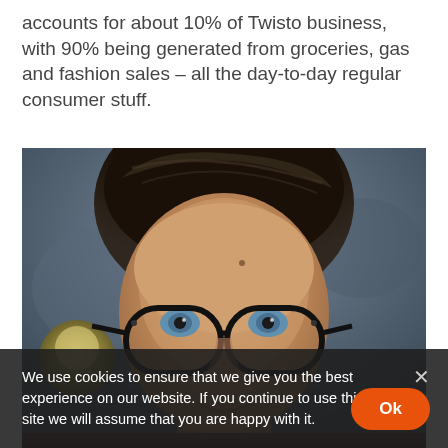accounts for about 10% of Twisto business, with 90% being generated from groceries, gas and fashion sales – all the day-to-day regular consumer stuff.
[Figure (photo): Close-up portrait photo of a man with dark swept-back hair, wearing black thick-framed glasses, looking at the camera with a slight smile. Blurred background with what appears to be a small figurine or object on the left side.]
We use cookies to ensure that we give you the best experience on our website. If you continue to use this site we will assume that you are happy with it.